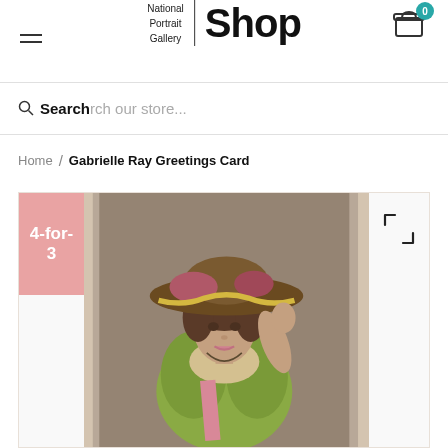National Portrait Gallery | Shop
Search our store...
Home / Gabrielle Ray Greetings Card
[Figure (photo): Vintage colorized photograph of a woman (Gabrielle Ray) wearing a large wide-brimmed hat decorated with flowers and a green ruffled dress, raising her right hand, on a greeting card product page. A pink '4-for-3' promotional badge overlays the top-left corner.]